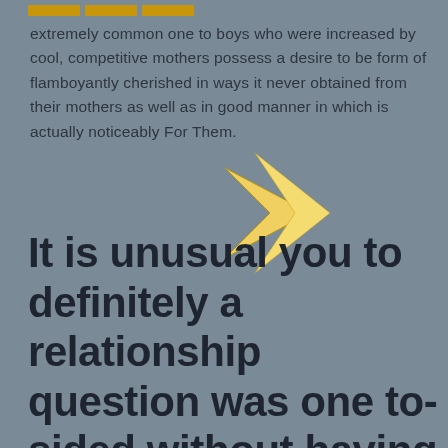[Figure (illustration): Three orange/gold horizontal bar segments in top-left corner as decorative header element]
extremely common one to boys who were increased by cool, competitive mothers possess a desire to be form of flamboyantly cherished in ways it never obtained from their mothers as well as in good manner in which is actually noticeably For Them.
[Figure (illustration): A yellow/gold diamond/chevron arrow shape pointing right, overlapping the text area]
It is unusual you to definitely a relationship question was one to-sided without having any other individual contributing for some reason on the active